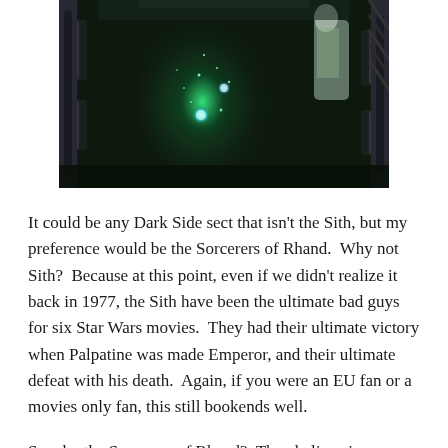[Figure (photo): Sci-fi / fantasy digital artwork showing a dark, glowing green ethereal figure or creature in an industrial or space station corridor environment with pipes and machinery. Glowing blue orbs visible in the scene. A pale figure appears at upper right.]
It could be any Dark Side sect that isn't the Sith, but my preference would be the Sorcerers of Rhand.  Why not Sith?  Because at this point, even if we didn't realize it back in 1977, the Sith have been the ultimate bad guys for six Star Wars movies.  They had their ultimate victory when Palpatine was made Emperor, and their ultimate defeat with his death.  Again, if you were an EU fan or a movies only fan, this still bookends well.
So why the Sorcerers of Rhand?  They believe in